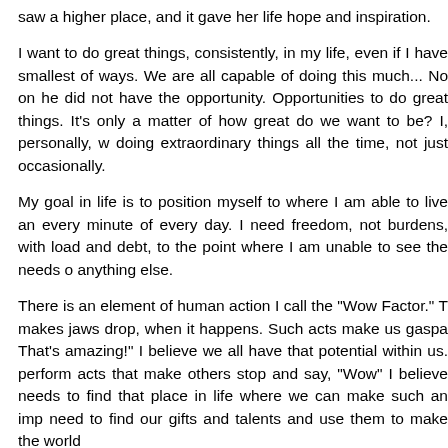saw a higher place, and it gave her life hope and inspiration.
I want to do great things, consistently, in my life, even if I have smallest of ways. We are all capable of doing this much... No one he did not have the opportunity. Opportunities to do great things. It's only a matter of how great do we want to be? I, personally, w doing extraordinary things all the time, not just occasionally.
My goal in life is to position myself to where I am able to live and every minute of every day. I need freedom, not burdens, with load and debt, to the point where I am unable to see the needs o anything else.
There is an element of human action I call the "Wow Factor." T makes jaws drop, when it happens. Such acts make us gasp That's amazing!" I believe we all have that potential within us. perform acts that make others stop and say, "Wow" I believe needs to find that place in life where we can make such an imp need to find our gifts and talents and use them to make the world
Yeah, maybe in the eyes of many I have lived the life of a quitt see things that way. I know that I'm not, quite the contrary, in fac life and freedom. A rebel, if you will. By refusing to join the norm proven that I am one who refuses to conform to the restless way choose to reach for the higher places in life, often seen and d places.